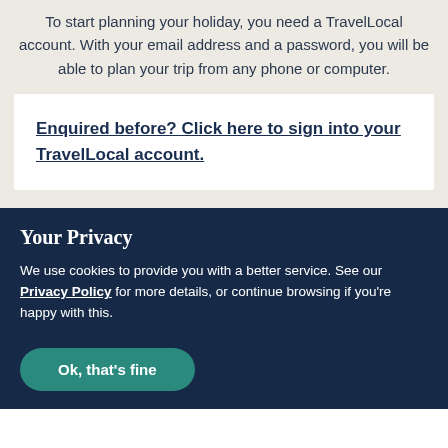To start planning your holiday, you need a TravelLocal account. With your email address and a password, you will be able to plan your trip from any phone or computer.
Enquired before? Click here to sign into your TravelLocal account.
Your Privacy
We use cookies to provide you with a better service. See our Privacy Policy for more details, or continue browsing if you're happy with this.
Ok, that's fine